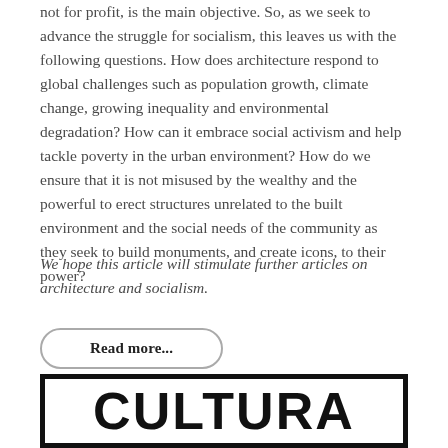not for profit, is the main objective. So, as we seek to advance the struggle for socialism, this leaves us with the following questions. How does architecture respond to global challenges such as population growth, climate change, growing inequality and environmental degradation? How can it embrace social activism and help tackle poverty in the urban environment? How do we ensure that it is not misused by the wealthy and the powerful to erect structures unrelated to the built environment and the social needs of the community as they seek to build monuments, and create icons, to their power?
We hope this article will stimulate further articles on architecture and socialism.
Read more...
[Figure (other): Partial view of a logo or title graphic with large bold letters, partially cropped at the bottom of the page]